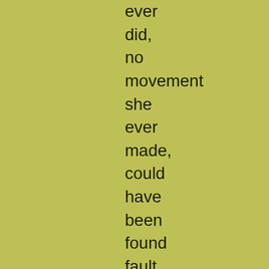ever did, no movement she ever made, could have been found fault with by her children. The room was warm